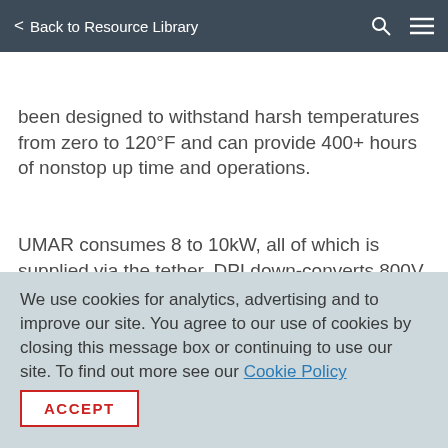< Back to Resource Library
...site design Download now...
been designed to withstand harsh temperatures from zero to 120°F and can provide 400+ hours of nonstop up time and operations.
UMAR consumes 8 to 10kW, all of which is supplied via the tether. DPI down-converts 800V power coming up through the tether into 50V via
We use cookies for analytics, advertising and to improve our site. You agree to our use of cookies by closing this message box or continuing to use our site. To find out more see our Cookie Policy
ACCEPT